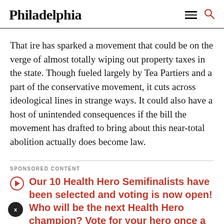Philadelphia
That ire has sparked a movement that could be on the verge of almost totally wiping out property taxes in the state. Though fueled largely by Tea Partiers and a part of the conservative movement, it cuts across ideological lines in strange ways. It could also have a host of unintended consequences if the bill the movement has drafted to bring about this near-total abolition actually does become law.
SPONSORED CONTENT
Our 10 Health Hero Semifinalists have been selected and voting is now open! Who will be the next Health Hero champion? Vote for your hero once a day.